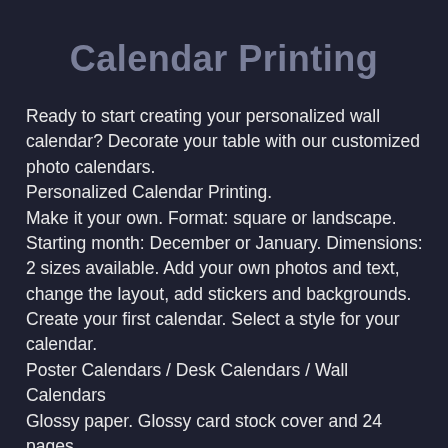Calendar Printing
Ready to start creating your personalized wall calendar? Decorate your table with our customized photo calendars.
Personalized Calendar Printing.
Make it your own. Format: square or landscape. Starting month: December or January. Dimensions: 2 sizes available. Add your own photos and text, change the layout, add stickers and backgrounds.
Create your first calendar. Select a style for your calendar.
Poster Calendars / Desk Calendars / Wall Calendars
Glossy paper. Glossy card stock cover and 24 pages.
Promotional Calendars.
Woodstock Printed calendars for personal and business use.